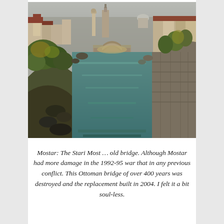[Figure (photo): Aerial view looking down the Neretva River toward the Stari Most (old bridge) arch in Mostar, Bosnia. The stone arch bridge spans the turquoise-green river. Rocky cliffs with vegetation line both sides. Historic stone buildings and a city skyline with minarets and a church tower visible in the background under an overcast sky.]
Mostar: The Stari Most … old bridge.  Although Mostar had more damage in the 1992-95 war that in any previous conflict.  This Ottoman bridge of over 400 years was destroyed and the replacement built in 2004.  I felt it a bit soul-less.